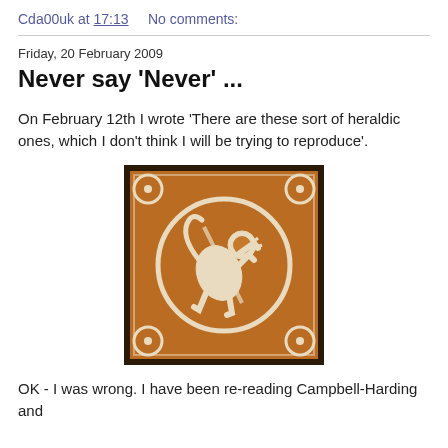Cda00uk at 17:13    No comments:
Friday, 20 February 2009
Never say 'Never' ...
On February 12th I wrote 'There are these sort of heraldic ones, which I don't think I will be trying to reproduce'.
[Figure (photo): A medieval heraldic ceramic tile with a lion rampant design in cream/white on a terracotta/brown background, square shaped with decorative corner motifs.]
OK - I was wrong. I have been re-reading Campbell-Harding and